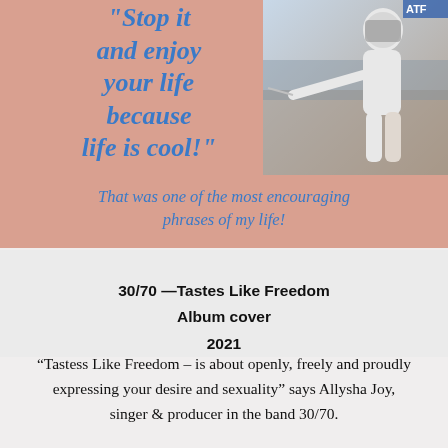[Figure (photo): A composite image with a salmon/peach background. On the left, large italic blue text reads: "Stop it and enjoy your life because life is cool!". On the right, a photo of a fencer in white protective gear holding a foil. Below, centered italic blue text reads: 'That was one of the most encouraging phrases of my life!']
30/70  —Tastes Like Freedom
Album cover
2021
“Tastess Like Freedom – is about openly, freely and proudly expressing your desire and sexuality” says Allysha Joy, singer & producer in the band 30/70.